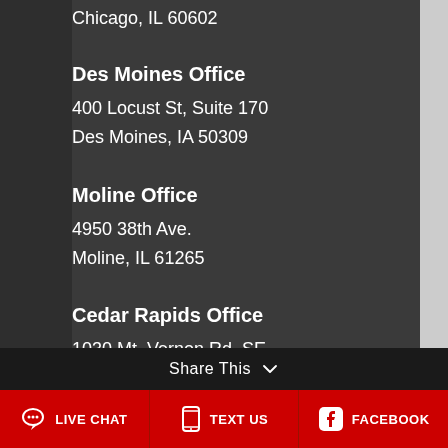Chicago, IL 60602
Des Moines Office
400 Locust St, Suite 170
Des Moines, IA 50309
Moline Office
4950 38th Ave.
Moline, IL 61265
Cedar Rapids Office
1030 Mt. Vernon Rd. SE
Cedar Rapids, IA 52403
Share This
LIVE CHAT  TEXT US  FACEBOOK